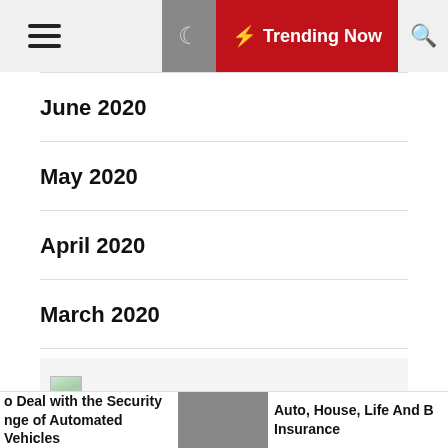Trending Now
June 2020
May 2020
April 2020
March 2020
[Figure (illustration): Broken/placeholder image icon with green and grey tones]
Categories
o Deal with the Security nge of Automated Vehicles | Auto, House, Life And B Insurance